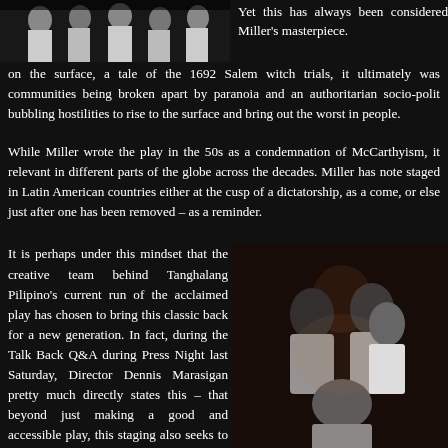[Figure (photo): Black and white photo of performers in white clothing, top left of page]
Yet this has always been considered Miller's masterpiece.
on the surface, a tale of the 1692 Salem witch trials, it ultimately was communities being broken apart by paranoia and an authoritarian socio-polit bubbling hostilities to rise to the surface and bring out the worst in people.
While Miller wrote the play in the 50s as a condemnation of McCarthyism, it relevant in different parts of the globe across the decades. Miller has note staged in Latin American countries either at the cusp of a dictatorship, as a come, or else just after one has been removed – as a reminder.
It is perhaps under this mindset that the creative team behind Tanghalang Pilipino's current run of the acclaimed play has chosen to bring this classic back for a new generation. In fact, during the Talk Back Q&A during Press Night last Saturday, Director Dennis Marasigan pretty much directly states this – that beyond just making a good and accessible play, this staging also seeks to open our eyes to the harsh and frightening realities that are fast
[Figure (photo): Color photo of performers in white, dramatic expressions, bottom right]